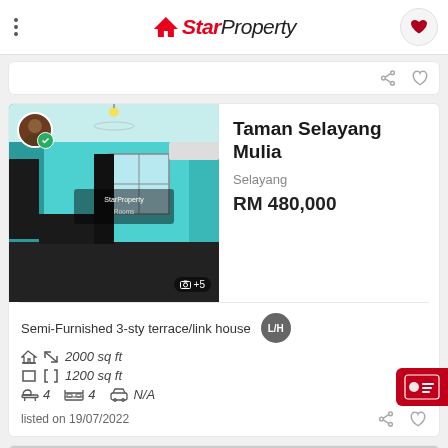StarProperty
[Figure (screenshot): Listing photo of a semi-furnished terrace/link house interior with teal-colored walls, showing a living area. Agent profile badge with green checkmark visible. Photo count +5 shown.]
Taman Selayang Mulia
Selayang
RM 480,000
Semi-Furnished 3-sty terrace/link house L/H
2000 sq ft
1200 sq ft
4   4   N/A
listed on 19/07/2022